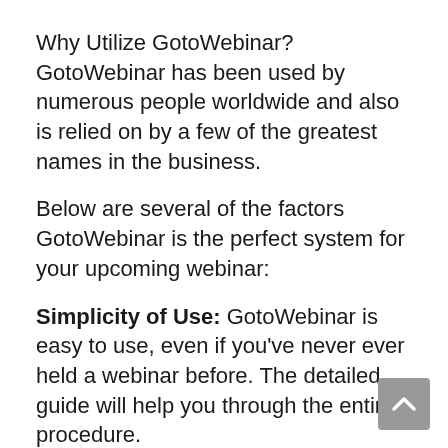Why Utilize GotoWebinar? GotoWebinar has been used by numerous people worldwide and also is relied on by a few of the greatest names in the business.
Below are several of the factors GotoWebinar is the perfect system for your upcoming webinar:
Simplicity of Use: GotoWebinar is easy to use, even if you've never ever held a webinar before. The detailed guide will help you through the entire procedure.
Dependability: GotoWebinar has been utilized by millions of individuals as well as is relied on by some of the greatest names in